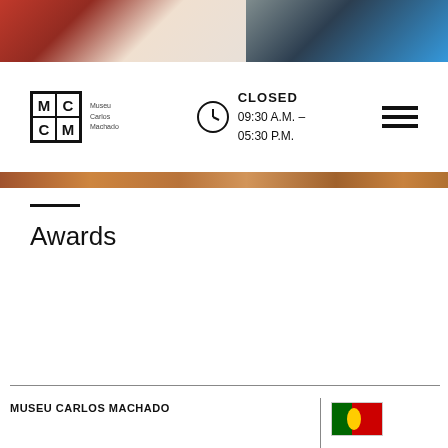[Figure (photo): Museum interior photo showing furniture/exhibits on left and a person on the right side, cropped at top of page]
[Figure (logo): MCM - Museu Carlos Machado logo with grid of letters M, C, C, M in bordered squares]
CLOSED
09:30 A.M. – 05:30 P.M.
[Figure (illustration): Hamburger menu icon with three horizontal lines]
[Figure (photo): Decorative wood-grain horizontal bar]
Awards
MUSEU CARLOS MACHADO